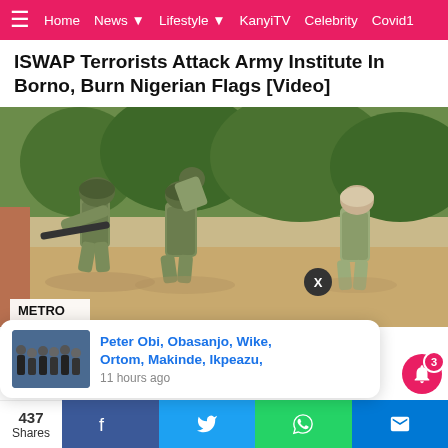≡  Home  News ▾  Lifestyle ▾  KanyiTV  Celebrity  Covid19
ISWAP Terrorists Attack Army Institute In Borno, Burn Nigerian Flags [Video]
[Figure (photo): Military soldiers in camouflage uniforms in an outdoor setting with trees in the background. One soldier is carrying another on his back, and a third soldier is visible on the right. A METRO badge is overlaid on the lower left of the image.]
Peter Obi, Obasanjo, Wike, Ortom, Makinde, Ikpeazu, 11 hours ago
Boko Haram Attacks Nigerian Army Convoy, ... Attack Killing ...
437
Shares